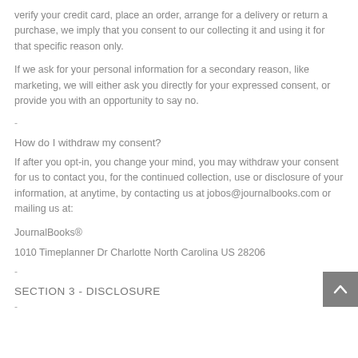verify your credit card, place an order, arrange for a delivery or return a purchase, we imply that you consent to our collecting it and using it for that specific reason only.
If we ask for your personal information for a secondary reason, like marketing, we will either ask you directly for your expressed consent, or provide you with an opportunity to say no.
-
How do I withdraw my consent?
If after you opt-in, you change your mind, you may withdraw your consent for us to contact you, for the continued collection, use or disclosure of your information, at anytime, by contacting us at jobos@journalbooks.com or mailing us at:
JournalBooks®
1010 Timeplanner Dr Charlotte North Carolina US 28206
-
SECTION 3 - DISCLOSURE
-